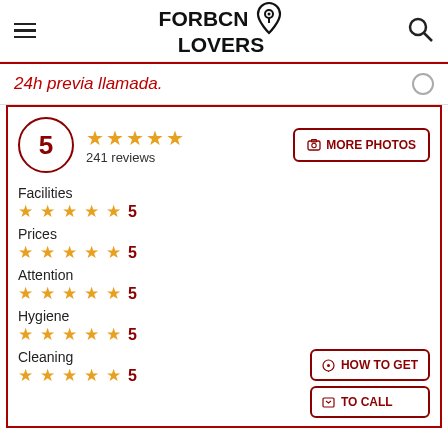FORBCN LOVERS
24h previa llamada.
5 — 241 reviews
MORE PHOTOS
Facilities 5
Prices 5
Attention 5
Hygiene 5
Cleaning 5
HOW TO GET
TO CALL